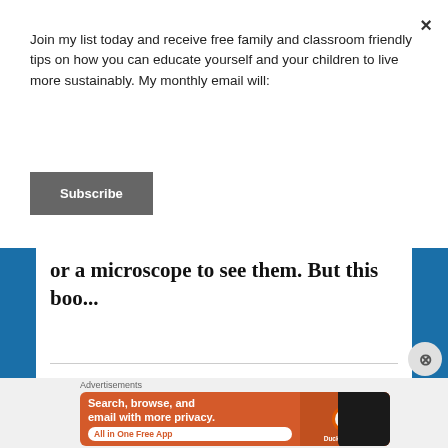Join my list today and receive free family and classroom friendly tips on how you can educate yourself and your children to live more sustainably. My monthly email will:
[Figure (other): Subscribe button - dark gray rectangular button with white bold text 'Subscribe']
or a microscope to see them. But this boo...
Advertisements
[Figure (other): DuckDuckGo advertisement banner - orange/red background with text 'Search, browse, and email with more privacy. All in One Free App' and DuckDuckGo logo with phone graphic]